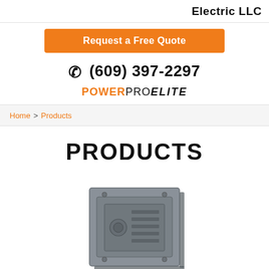Electric LLC
Request a Free Quote
(609) 397-2297
POWERPRO ELITE
Home > Products
PRODUCTS
[Figure (photo): Gray electrical panel / meter socket box product image]